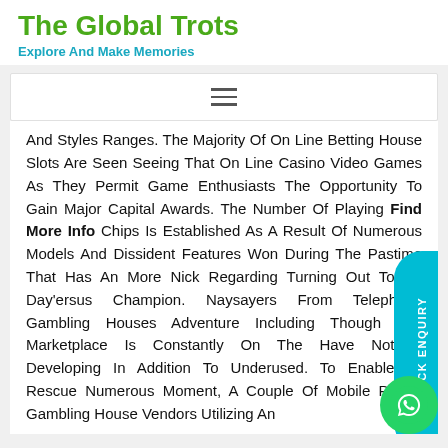The Global Trots
Explore And Make Memories
[Figure (other): Navigation hamburger menu bar]
And Styles Ranges. The Majority Of On Line Betting House Slots Are Seen Seeing That On Line Casino Video Games As They Permit Game Enthusiasts The Opportunity To Gain Major Capital Awards. The Number Of Playing Find More Info Chips Is Established As A Result Of Numerous Models And Dissident Features Won During The Pastime That Has An More Nick Regarding Turning Out To Be Day'ersus Champion. Naysayers From Telephone Gambling Houses Adventure Including Though The Marketplace Is Constantly On The Have Notably Developing In Addition To Underused. To Enable To Rescue Numerous Moment, A Couple Of Mobile Phone Gambling House Vendors Utilizing An